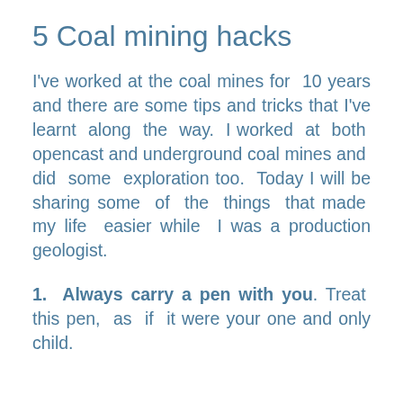5 Coal mining hacks
I've worked at the coal mines for 10 years and there are some tips and tricks that I've learnt along the way. I worked at both opencast and underground coal mines and did some exploration too. Today I will be sharing some of the things that made my life easier while I was a production geologist.
1. Always carry a pen with you. Treat this pen, as if it were your one and only child.